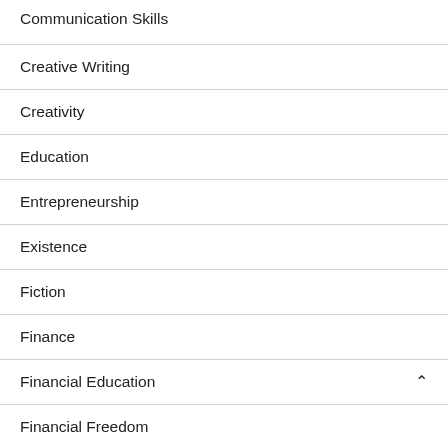Communication Skills
Creative Writing
Creativity
Education
Entrepreneurship
Existence
Fiction
Finance
Financial Education
Financial Freedom